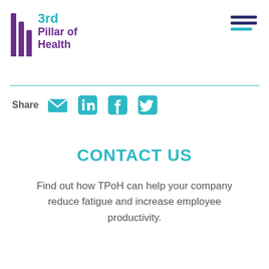[Figure (logo): 3rd Pillar of Health logo with three purple vertical pillars of decreasing height and teal/purple text]
[Figure (infographic): Hamburger menu icon with two dark navy lines and one teal line]
Share
[Figure (infographic): Social share icons: email (envelope), LinkedIn, Facebook, Twitter — all in teal color]
CONTACT US
Find out how TPoH can help your company reduce fatigue and increase employee productivity.